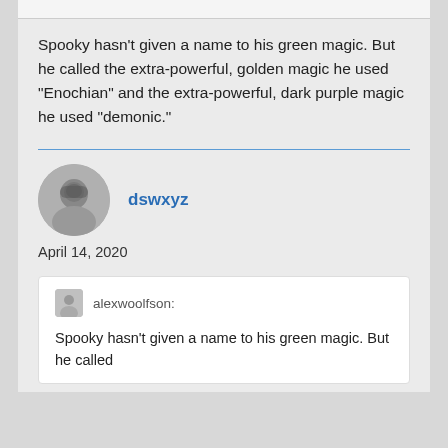Spooky hasn't given a name to his green magic. But he called the extra-powerful, golden magic he used “Enochian” and the extra-powerful, dark purple magic he used “demonic.”
[Figure (photo): User avatar: circular profile photo of a person]
dswxyz
April 14, 2020
[Figure (photo): Small square avatar of alexwoolfson]
alexwoolfson:
Spooky hasn’t given a name to his green magic. But he called